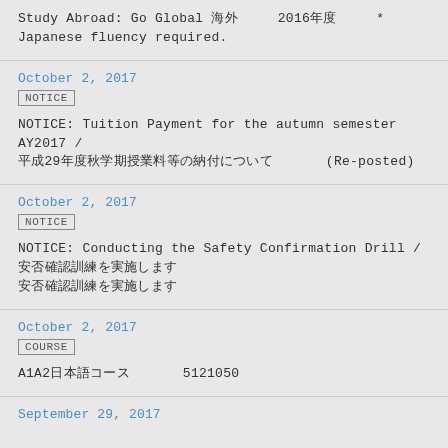Study Abroad: Go Global 海外　2016年度　* Japanese fluency required.
October 2, 2017
NOTICE
NOTICE: Tuition Payment for the autumn semester AY2017 / 平成29年度秋学期授業料等の納付について　(Re-posted)
October 2, 2017
NOTICE
NOTICE: Conducting the Safety Confirmation Drill / 安否確認訓練を実施します　安否確認訓練を実施します
October 2, 2017
COURSE
A1A2日本語コース　5121050
September 29, 2017